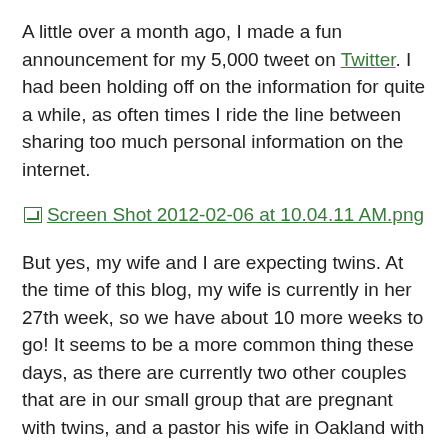A little over a month ago, I made a fun announcement for my 5,000 tweet on Twitter. I had been holding off on the information for quite a while, as often times I ride the line between sharing too much personal information on the internet.
[Figure (screenshot): Broken image link placeholder reading 'Screen Shot 2012-02-06 at 10.04.11 AM.png']
But yes, my wife and I are expecting twins. At the time of this blog, my wife is currently in her 27th week, so we have about 10 more weeks to go! It seems to be a more common thing these days, as there are currently two other couples that are in our small group that are pregnant with twins, and a pastor his wife in Oakland with twins (who just recently turned 6). We're expecting two fraternal girls, and are almost done picking out names. What's funny is that between the 3 of us couples having twins, there's two boys, two girls, and one boy, one girl, so we seem to have all the bases covered in our little group.